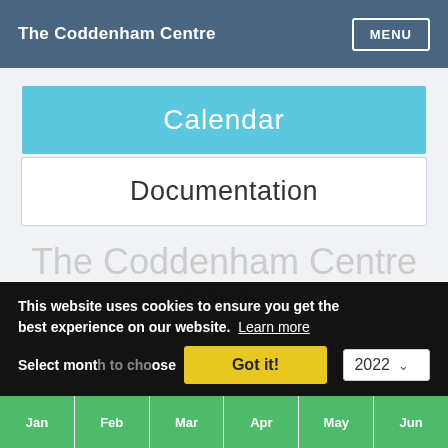The Coddenham Centre  MENU
Calendar
Documentation
The Coddenham Centre
Calendar
This website uses cookies to ensure you get the best experience on our website. Learn more
Select month to choose  2022
Got it!
Jan  Feb  Mar  Apr  May  Jun